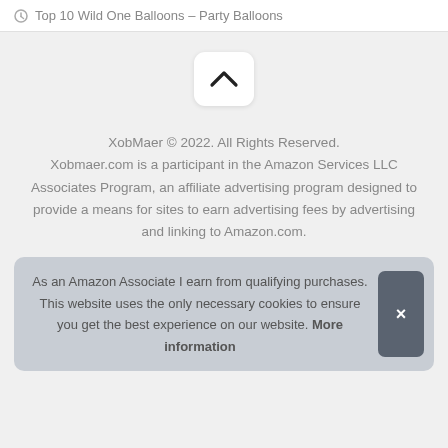Top 10 Wild One Balloons – Party Balloons
[Figure (other): Scroll-to-top button with an upward chevron arrow on a white rounded rectangle background]
XobMaer © 2022. All Rights Reserved. Xobmaer.com is a participant in the Amazon Services LLC Associates Program, an affiliate advertising program designed to provide a means for sites to earn advertising fees by advertising and linking to Amazon.com.
As an Amazon Associate I earn from qualifying purchases. This website uses the only necessary cookies to ensure you get the best experience on our website. More information